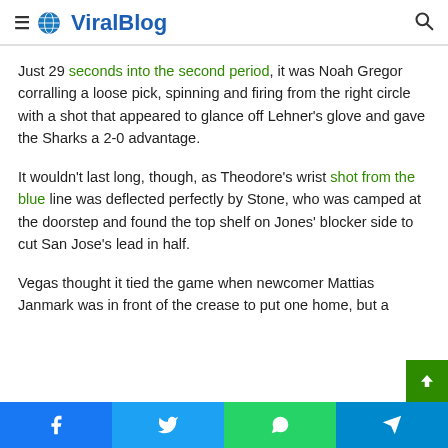ViralBlog
Just 29 seconds into the second period, it was Noah Gregor corralling a loose pick, spinning and firing from the right circle with a shot that appeared to glance off Lehner's glove and gave the Sharks a 2-0 advantage.
It wouldn't last long, though, as Theodore's wrist shot from the blue line was deflected perfectly by Stone, who was camped at the doorstep and found the top shelf on Jones' blocker side to cut San Jose's lead in half.
Vegas thought it tied the game when newcomer Mattias Janmark was in front of the crease to put one home, but a